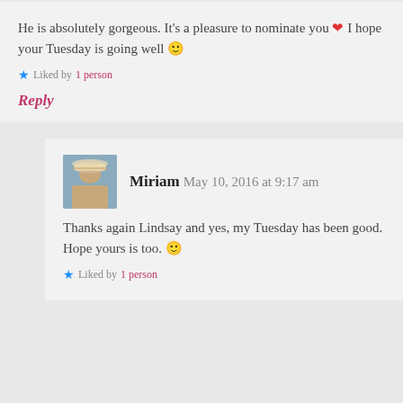He is absolutely gorgeous. It's a pleasure to nominate you ❤ I hope your Tuesday is going well 🙂
★ Liked by 1 person
Reply
Miriam  May 10, 2016 at 9:17 am
Thanks again Lindsay and yes, my Tuesday has been good. Hope yours is too. 🙂
★ Liked by 1 person